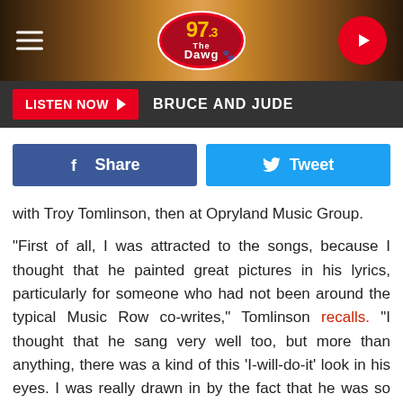[Figure (logo): 97.3 The Dawg radio station header with logo, hamburger menu, and play button on a wood-grain background]
[Figure (infographic): Listen Now button bar with BRUCE AND JUDE text on dark background]
[Figure (infographic): Facebook Share and Twitter Tweet social sharing buttons]
with Troy Tomlinson, then at Opryland Music Group.
"First of all, I was attracted to the songs, because I thought that he painted great pictures in his lyrics, particularly for someone who had not been around the typical Music Row co-writes," Tomlinson recalls. "I thought that he sang very well too, but more than anything, there was a kind of this 'I-will-do-it' look in his eyes. I was really drawn in by the fact that he was so set on being successful in this business."
ADVERTISEMENT